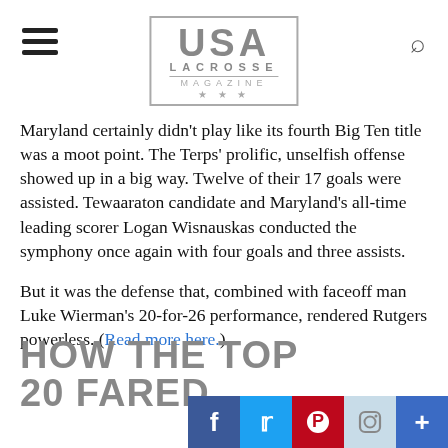USA LACROSSE MAGAZINE
Maryland certainly didn't play like its fourth Big Ten title was a moot point. The Terps' prolific, unselfish offense showed up in a big way. Twelve of their 17 goals were assisted. Tewaaraton candidate and Maryland's all-time leading scorer Logan Wisnauskas conducted the symphony once again with four goals and three assists.
But it was the defense that, combined with faceoff man Luke Wierman's 20-for-26 performance, rendered Rutgers powerless. (Read more here.)
HOW THE TOP 20 FARED